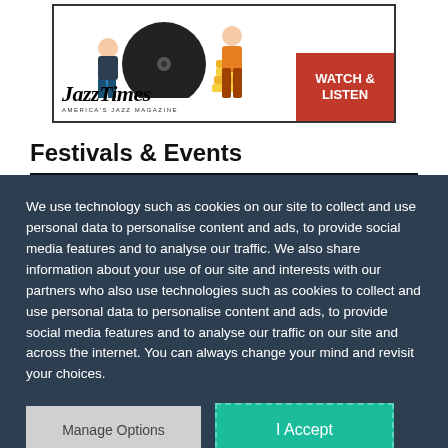[Figure (illustration): JazzTimes advertisement banner showing vinyl record illustration, JazzTimes logo with 'America's Jazz Magazine' subtitle, and a red 'Watch & Listen' button on the right side.]
Festivals & Events
We use technology such as cookies on our site to collect and use personal data to personalise content and ads, to provide social media features and to analyse our traffic. We also share information about your use of our site and interests with our partners who also use technologies such as cookies to collect and use personal data to personalise content and ads, to provide social media features and to analyse our traffic on our site and across the internet. You can always change your mind and revisit your choices.
Manage Options
I Accept